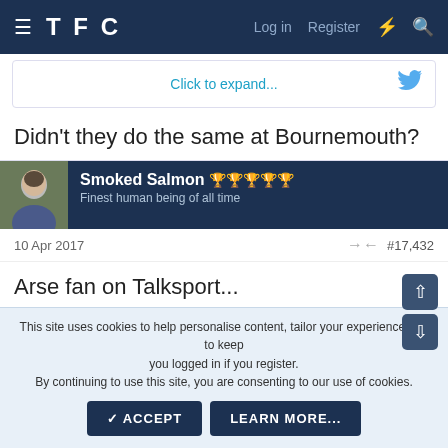TFC  Log in  Register
Click to expand...
Didn't they do the same at Bournemouth?
Smoked Salmon  Finest human being of all time
10 Apr 2017  #17,432
Arse fan on Talksport...
This site uses cookies to help personalise content, tailor your experience and to keep you logged in if you register.
By continuing to use this site, you are consenting to our use of cookies.